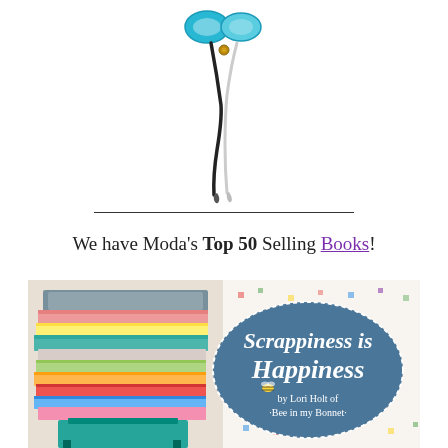[Figure (photo): Scissors product photo — a pair of blue-handled fabric scissors with a seam ripper, displayed on white background]
We have Moda's Top 50 Selling Books!
[Figure (photo): Book cover image: 'Scrappiness is Happiness by Lori Holt of Bee in my Bonnet' — shows a stack of colorful quilts with a patchwork quilt background and a teal oval logo badge]